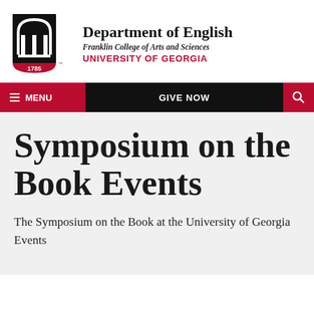[Figure (logo): University of Georgia arch logo with 1785 text in red and black]
Department of English
Franklin College of Arts and Sciences
UNIVERSITY OF GEORGIA
[Figure (screenshot): Navigation bar with red MENU button, black GIVE NOW center, red search icon]
Symposium on the Book Events
The Symposium on the Book at the University of Georgia Events